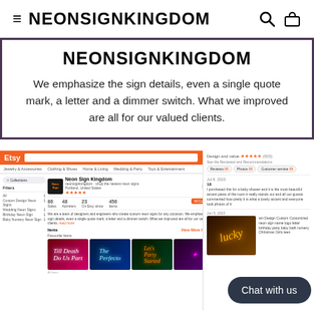≡ NEONSIGNKINGDOM 🔍 🛍
NEONSIGNKINGDOM
We emphasize the sign details, even a single quote mark, a letter and a dimmer switch. What we improved are all for our valued clients.
[Figure (screenshot): Screenshot of the NeonSignKingdom Etsy shop page showing shop header, product thumbnails (neon signs in pink, teal, green, purple), shop statistics, and a review panel on the right side with a 'Chat with us' button overlay.]